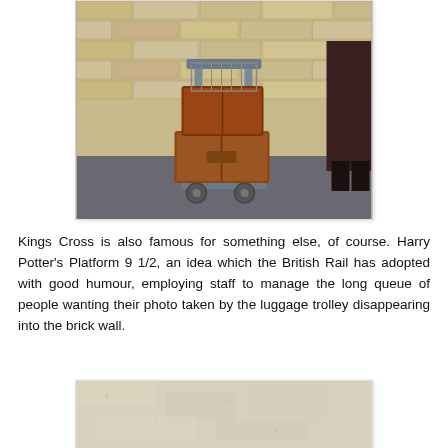[Figure (photo): A luggage trolley with brown vintage suitcases stacked on it, positioned against a brick wall at Kings Cross station. The trolley is grey/blue metal with wheels. A person in dark clothing is partially visible on the right.]
Kings Cross is also famous for something else, of course. Harry Potter's Platform 9 1/2, an idea which the British Rail has adopted with good humour, employing staff to manage the long queue of people wanting their photo taken by the luggage trolley disappearing into the brick wall.
[Figure (photo): Close-up photograph of a brick wall or stone surface, light beige/cream colored texture.]